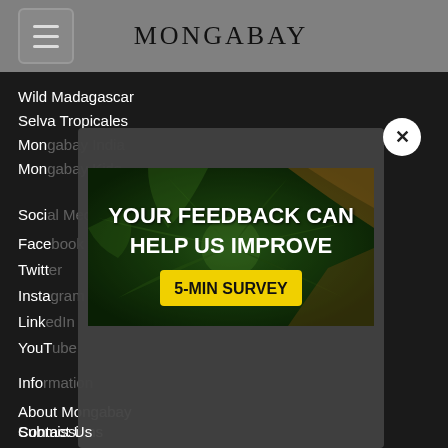MONGABAY
Wild Madagascar
Selva Tropicales
Mon...
Mon...
Soci...
Face...
Twitt...
Insta...
Link...
YouT...
Info...
About Mongabay
Submissions
Advertising
Contact Us
Privacy Policy
[Figure (infographic): Survey popup banner showing aerial view of tropical forest with text 'YOUR FEEDBACK CAN HELP US IMPROVE' and a yellow button labeled '5-MIN SURVEY']